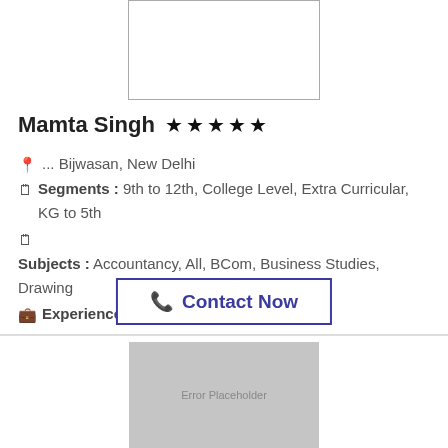[Figure (photo): Profile photo placeholder (top, white box with border)]
Mamta Singh ★★★★★
📍 ... Bijwasan, New Delhi   🗒 Segments : 9th to 12th, College Level, Extra Curricular, KG to 5th
🗒 Subjects : Accountancy, All, BCom, Business Studies, Drawing
💼 Experience :1
📞 Contact Now
[Figure (photo): Profile photo placeholder (bottom, grey box with 'Error Placeholder' text)]